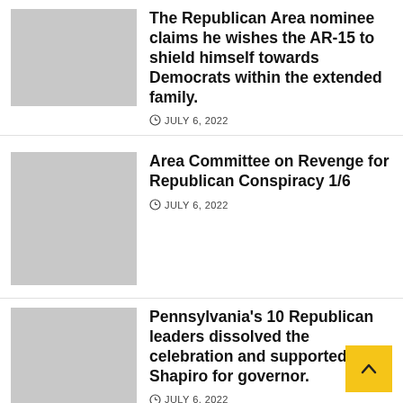[Figure (photo): Gray placeholder thumbnail image for first article]
The Republican Area nominee claims he wishes the AR-15 to shield himself towards Democrats within the extended family.
JULY 6, 2022
[Figure (photo): Gray placeholder thumbnail image for second article]
Area Committee on Revenge for Republican Conspiracy 1/6
JULY 6, 2022
[Figure (photo): Gray placeholder thumbnail image for third article]
Pennsylvania's 10 Republican leaders dissolved the celebration and supported Shapiro for governor.
JULY 6, 2022